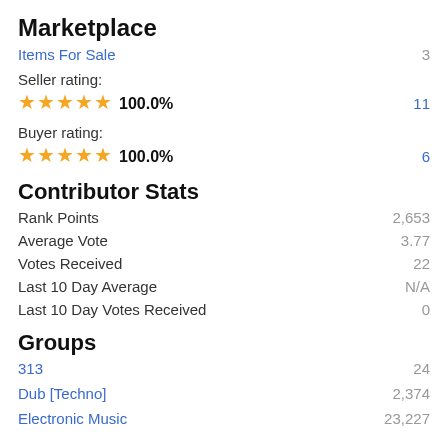Marketplace
Items For Sale    3
Seller rating:
★★★★★ 100.0%    11
Buyer rating:
★★★★★ 100.0%    6
Contributor Stats
Rank Points    2,653
Average Vote    3.77
Votes Received    22
Last 10 Day Average    N/A
Last 10 Day Votes Received    0
Groups
313    24
Dub [Techno]    2,374
Electronic Music    23,227